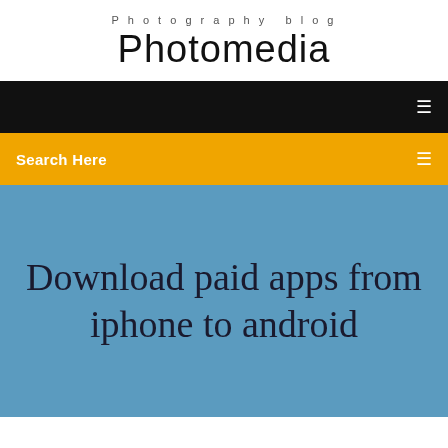Photography blog
Photomedia
[Figure (screenshot): Black navigation bar with a small white menu icon on the right]
Search Here
Download paid apps from iphone to android